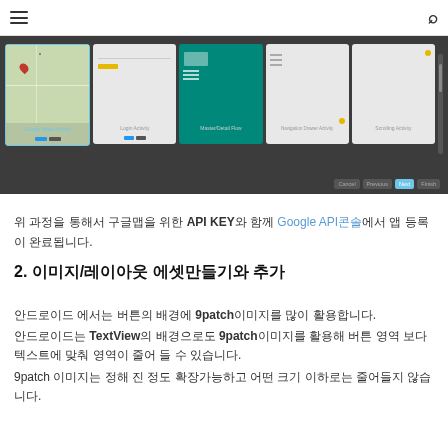navigation header with hamburger menu and search icon
[Figure (screenshot): Android Studio activity template selection screen showing Google Maps Activity, Login Activity, Master/Detail Flow, Navigation Drawer Activity, and Scrolling Activity options with Cancel, Previous, Next, Finish buttons]
위 과정을 통해서 구글맵을 위한 API KEY와 함께 Google API콘솔에서 앱 등록이 완료됩니다.
2. 이미지/레이아웃 에셋만들기와 추가
안드로이드 에서는 버튼의 배경에 9patch이미지를 많이 활용합니다.
안드로이드는 TextView의 배경으로도 9patch이미지를 활용해 버튼 영역 보다 텍스트에 맞춰 영역이 줄어 들 수 있습니다.
9patch 이미지는 정해 진 정도 확장가능하고 어떤 크기 이하로는 줄어들지 않습니다.